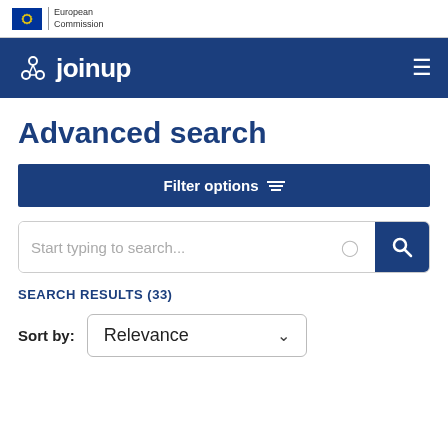[Figure (logo): European Commission logo with EU flag stars and text 'European Commission']
[Figure (logo): Joinup navigation bar with logo and hamburger menu icon]
Advanced search
Filter options
Start typing to search...
SEARCH RESULTS (33)
Sort by: Relevance